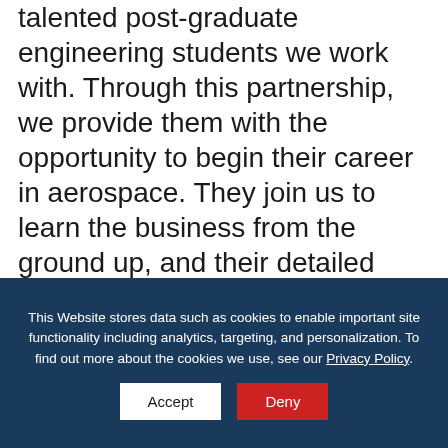Another boost to our growth is the group of talented post-graduate engineering students we work with. Through this partnership, we provide them with the opportunity to begin their career in aerospace. They join us to learn the business from the ground up, and their detailed knowledge of our operations helps them seamlessly move into the engineering side of the company. This gives them concrete knowledge about our operations before they dive into the intricacies of the aerospace industry.
This Website stores data such as cookies to enable important site functionality including analytics, targeting, and personalization. To find out more about the cookies we use, see our Privacy Policy.